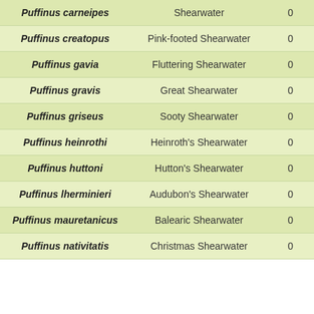| Puffinus carneipes | Shearwater | 0 | 0 |
| Puffinus creatopus | Pink-footed Shearwater | 0 | 0 |
| Puffinus gavia | Fluttering Shearwater | 0 | 0 |
| Puffinus gravis | Great Shearwater | 0 | 0 |
| Puffinus griseus | Sooty Shearwater | 0 | 0 |
| Puffinus heinrothi | Heinroth's Shearwater | 0 | 0 |
| Puffinus huttoni | Hutton's Shearwater | 0 | 0 |
| Puffinus lherminieri | Audubon's Shearwater | 0 | 0 |
| Puffinus mauretanicus | Balearic Shearwater | 0 | 0 |
| Puffinus nativitatis | Christmas Shearwater | 0 | 0 |